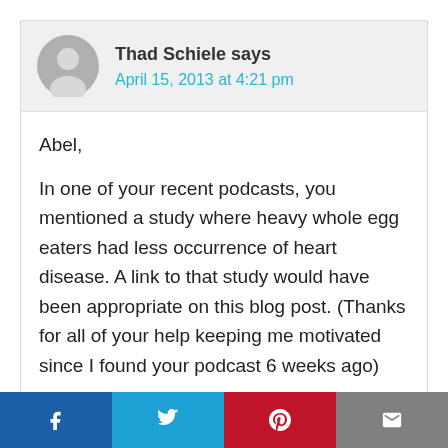Thad Schiele says
April 15, 2013 at 4:21 pm
Abel,
In one of your recent podcasts, you mentioned a study where heavy whole egg eaters had less occurrence of heart disease. A link to that study would have been appropriate on this blog post. (Thanks for all of your help keeping me motivated since I found your podcast 6 weeks ago)
Reply